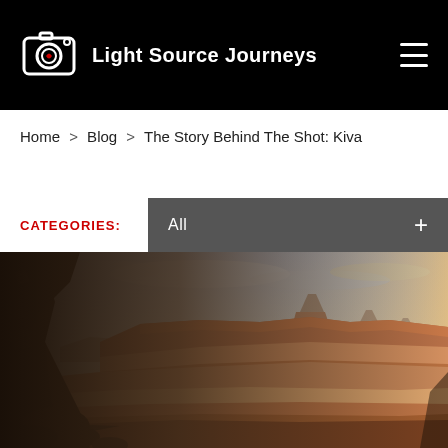Light Source Journeys
Home > Blog > The Story Behind The Shot: Kiva
CATEGORIES:
All +
[Figure (photo): Panoramic landscape photo of red rock canyon country (Canyonlands/Utah style), viewed from inside a cave or alcove. The foreground shows rocky sandstone walls and boulders in dark shadow. The middle ground reveals layered red and tan canyon mesas, buttes, and badlands terrain. In the background are distant mesa formations (resembling Canyonlands' Island in the Sky area) against a cloudy sky with warm sunset/sunrise light on the horizon.]